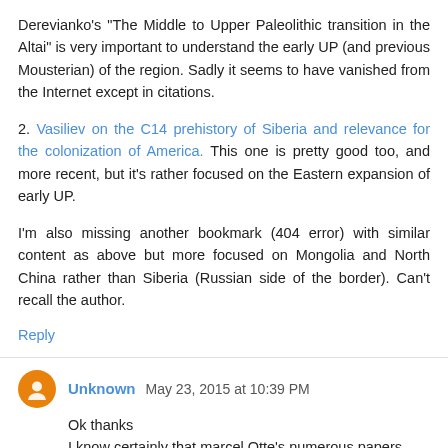Derevianko's "The Middle to Upper Paleolithic transition in the Altai" is very important to understand the early UP (and previous Mousterian) of the region. Sadly it seems to have vanished from the Internet except in citations.
2. Vasiliev on the C14 prehistory of Siberia and relevance for the colonization of America. This one is pretty good too, and more recent, but it's rather focused on the Eastern expansion of early UP.
I'm also missing another bookmark (404 error) with similar content as above but more focused on Mongolia and North China rather than Siberia (Russian side of the border). Can't recall the author.
Reply
Unknown May 23, 2015 at 10:39 PM
Ok thanks
I know certainly that marcel Otte's numerous papers afire for centrala asian origin of Aurignacian. But I'm taking his